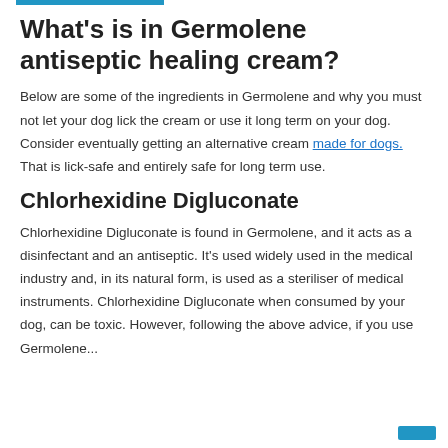What's is in Germolene antiseptic healing cream?
Below are some of the ingredients in Germolene and why you must not let your dog lick the cream or use it long term on your dog. Consider eventually getting an alternative cream made for dogs. That is lick-safe and entirely safe for long term use.
Chlorhexidine Digluconate
Chlorhexidine Digluconate is found in Germolene, and it acts as a disinfectant and an antiseptic. It's used widely used in the medical industry and, in its natural form, is used as a steriliser of medical instruments. Chlorhexidine Digluconate when consumed by your dog, can be toxic. However, following the above advice, if you use Germolene...